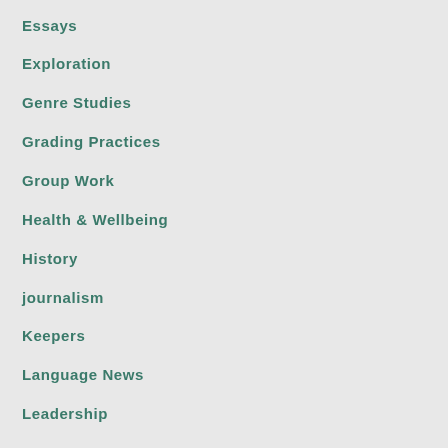Essays
Exploration
Genre Studies
Grading Practices
Group Work
Health & Wellbeing
History
journalism
Keepers
Language News
Leadership